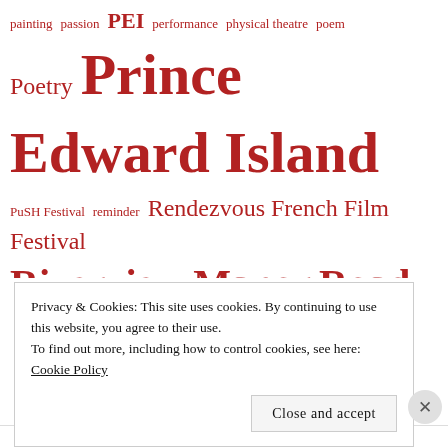[Figure (other): Tag cloud with various terms in red text at different font sizes relating to arts, theatre, travel, and locations]
Privacy & Cookies: This site uses cookies. By continuing to use this website, you agree to their use.
To find out more, including how to control cookies, see here:
Cookie Policy
Close and accept